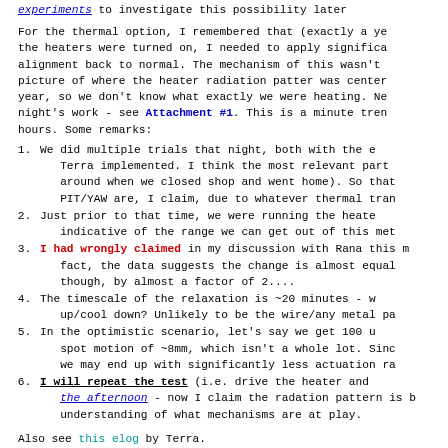experiments to investigate this possibility later
For the thermal option, I remembered that (exactly a year ago) the heaters were turned on, I needed to apply significant force to get alignment back to normal. The mechanism of this wasn't clear. We had no picture of where the heater radiation patter was centered last year, so we don't know what exactly we were heating. Nonetheless, last night's work - see Attachment #1. This is a minute trend over ~3 hours. Some remarks:
We did multiple trials that night, both with the e Terra implemented. I think the most relevant part is what happened around when we closed shop and went home). So that the drifts in PIT/YAW are, I claim, due to whatever thermal tran
Just prior to that time, we were running the heaters indicative of the range we can get out of this method.
I had wrongly claimed in my discussion with Rana this. In fact, the data suggests the change is almost equal though, by almost a factor of 2....
The timescale of the relaxation is ~20 minutes - warm up/cool down? Unlikely to be the wire/any metal pa
In the optimistic scenario, let's say we get 100 u spot motion of ~8mm, which isn't a whole lot. Since we may end up with significantly less actuation ra
I will repeat the test (i.e. drive the heater and in the afternoon - now I claim the radation pattern is better understanding of what mechanisms are at play.
Also see this elog by Terra.